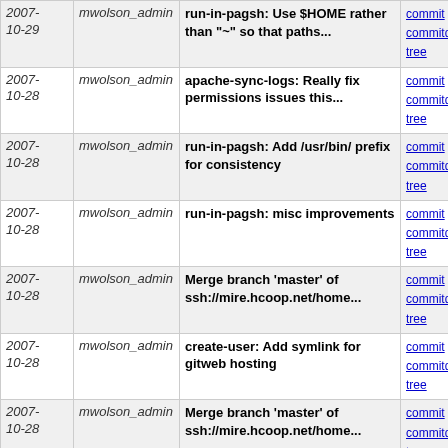| Date | Author | Message | Links |
| --- | --- | --- | --- |
| 2007-10-29 | mwolson_admin | run-in-pagsh: Use $HOME rather than "~" so that paths... | commit | commitdiff | tree |
| 2007-10-28 | mwolson_admin | apache-sync-logs: Really fix permissions issues this... | commit | commitdiff | tree |
| 2007-10-28 | mwolson_admin | run-in-pagsh: Add /usr/bin/ prefix for consistency | commit | commitdiff | tree |
| 2007-10-28 | mwolson_admin | run-in-pagsh: misc improvements | commit | commitdiff | tree |
| 2007-10-28 | mwolson_admin | Merge branch 'master' of ssh://mire.hcoop.net/home... | commit | commitdiff | tree |
| 2007-10-28 | mwolson_admin | create-user: Add symlink for gitweb hosting | commit | commitdiff | tree |
| 2007-10-28 | mwolson_admin | Merge branch 'master' of ssh://mire.hcoop.net/home... | commit | commitdiff | tree |
| 2007-10-23 | mwolson_admin | hcoop-backup: Backup ikiwiki plugins, ignore /usr/lib... | commit | commitdiff | tree |
| 2007-10-22 | mwolson_admin | Merge from CVS: create-user: use pagsh in commented... | commit | commitdiff | tree |
| 2007-10-20 | mwolson_admin | redeliver-mail: Make more safe, so we never overwrite... | commit | commitdiff | tree |
| 2007-10-19 | mwolson_admin | apache-sync-logs: Put logs in ~USER/.logs | commit | commitdiff | tree |
| 2007-10-19 | mwolson_admin | redeliver-mail: new script to redeliver all mail in... | commit | commitdiff | tree |
| 2007-10-18 | mwolson_admin | create-user: comment-out unnecessary and trouble- | commit | commitdiff | tree |